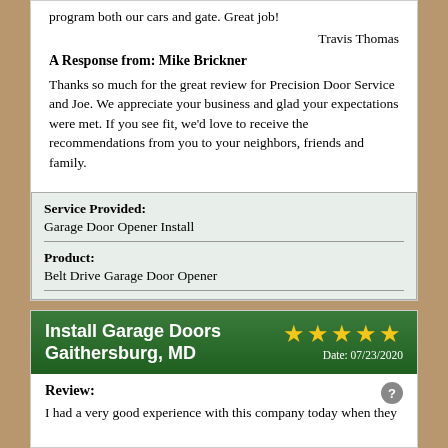program both our cars and gate. Great job!
Travis Thomas
A Response from: Mike Brickner
Thanks so much for the great review for Precision Door Service and Joe. We appreciate your business and glad your expectations were met. If you see fit, we'd love to receive the recommendations from you to your neighbors, friends and family.
| Service Provided: | Garage Door Opener Install |
| Product: | Belt Drive Garage Door Opener |
Install Garage Doors Gaithersburg, MD
Date: 07/23/2020
Review:
I had a very good experience with this company today when they